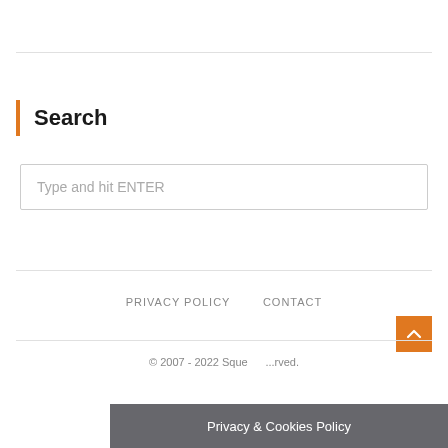Search
Type and hit ENTER
PRIVACY POLICY   CONTACT
© 2007 - 2022 Sque...rved.
Privacy & Cookies Policy